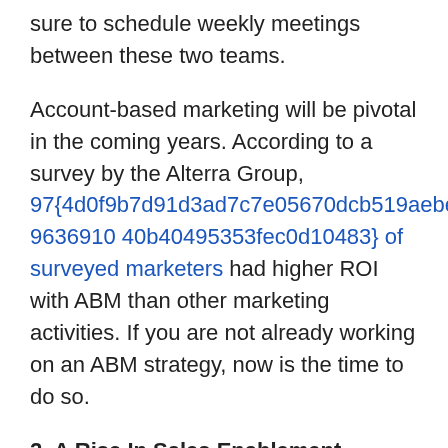sure to schedule weekly meetings between these two teams.
Account-based marketing will be pivotal in the coming years. According to a survey by the Alterra Group, 97{4d0f9b7d91d3ad7c7e05670dcb519aebee449636910 40b40495353fec0d10483} of surveyed marketers had higher ROI with ABM than other marketing activities. If you are not already working on an ABM strategy, now is the time to do so.
2. A Rise In Sales Enablement Technology
New technology is transforming the way B2B marketing works, with automation and sales enablement tools poised to take over the